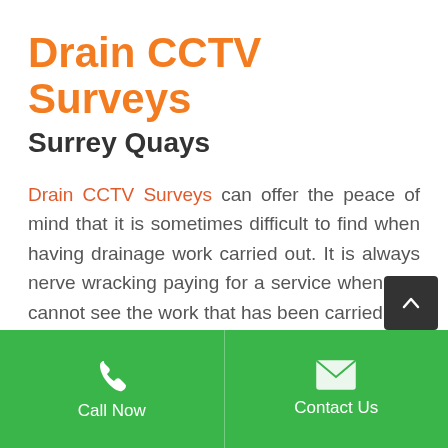Drain CCTV Surveys
Surrey Quays
Drain CCTV Surveys can offer the peace of mind that it is sometimes difficult to find when having drainage work carried out. It is always nerve wracking paying for a service when you cannot see the work that has been carried out. That is why we offer our drainage CCTV survey on completion when high pressure jetting was required. You can then rest assured that the
Call Now
Contact Us